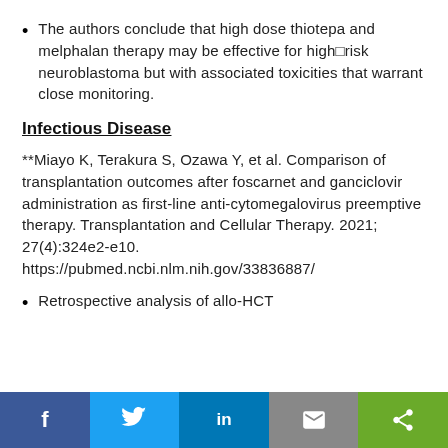The authors conclude that high dose thiotepa and melphalan therapy may be effective for high□risk neuroblastoma but with associated toxicities that warrant close monitoring.
Infectious Disease
**Miayo K, Terakura S, Ozawa Y, et al. Comparison of transplantation outcomes after foscarnet and ganciclovir administration as first-line anti-cytomegalovirus preemptive therapy. Transplantation and Cellular Therapy. 2021; 27(4):324e2-e10. https://pubmed.ncbi.nlm.nih.gov/33836887/
Retrospective analysis of allo-HCT